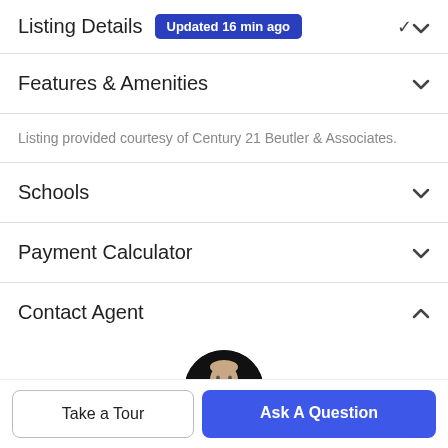Listing Details Updated 16 min ago
Features & Amenities
Listing provided courtesy of Century 21 Beutler & Associates.
Schools
Payment Calculator
Contact Agent
[Figure (photo): Circular profile photo of a man in a suit against a dark background]
Take a Tour
Ask A Question